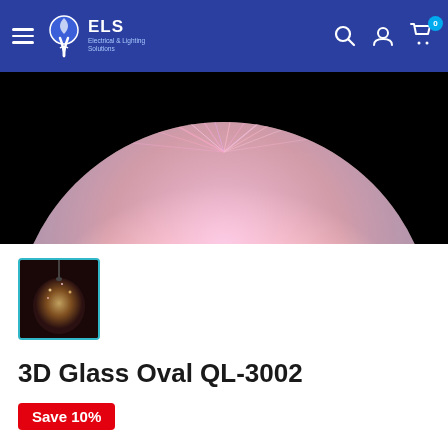ELS Electrical & Lighting Solutions navigation bar with logo, search, account, and cart icons
[Figure (photo): Close-up macro photo of a 3D glass globe pendant light showing iridescent multicolored sparkle pattern on black background]
[Figure (photo): Thumbnail of 3D Glass Oval QL-3002 pendant light on dark background]
3D Glass Oval QL-3002
Save 10%
QZAO